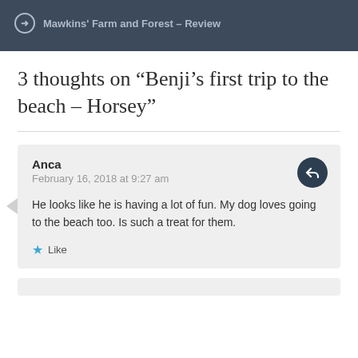Mawkins' Farm and Forest – Review
3 thoughts on “Benji’s first trip to the beach – Horsey”
Anca
February 16, 2018 at 9:27 am
He looks like he is having a lot of fun. My dog loves going to the beach too. Is such a treat for them.
Like